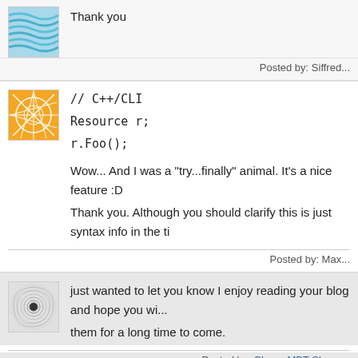[Figure (illustration): Blue wavy lines avatar for comment 1]
Thank you
Posted by: Siffred...
[Figure (illustration): Orange geometric lines avatar for comment 2]
// C++/CLI
Resource r;
r.Foo();
Wow... And I was a "try...finally" animal. It's a nice feature :D
Thank you. Although you should clarify this is just syntax info in the ti
Posted by: Max...
[Figure (illustration): Spiral pattern avatar for comment 3]
just wanted to let you know I enjoy reading your blog and hope you wi... them for a long time to come.
Posted by: Cheap MBT Shoes...
[Figure (illustration): Teal floral avatar for comment 4]
Interesting posts, responses, and new site information. In the future, ho...